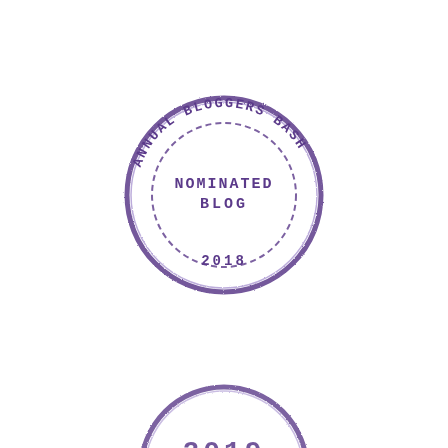[Figure (illustration): Circular rubber stamp in purple ink reading 'ANNUAL BLOGGERS BASH' around the outer ring with 'NOMINATED BLOG' in the center and '2018' at the bottom, with a dashed inner circle border.]
[Figure (illustration): Partial view of a second similar circular rubber stamp in purple ink, cropped at the bottom of the page, showing only the top portion.]